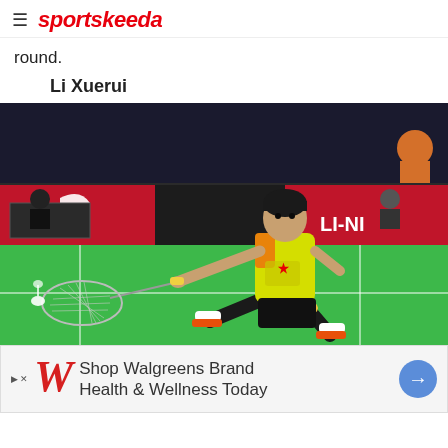sportskeeda
round.
Li Xuerui
[Figure (photo): Li Xuerui, a Chinese badminton player wearing a yellow and orange jersey, lunging forward to hit a shuttlecock with her racket on a green court. Li-Ning branded banners visible in the background.]
Shop Walgreens Brand Health & Wellness Today